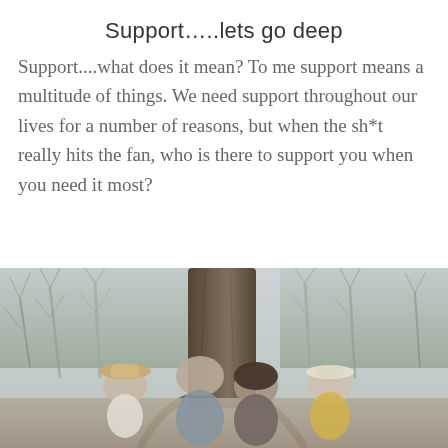Support…..lets go deep
Support....what does it mean? To me support means a multitude of things. We need support throughout our lives for a number of reasons, but when the sh*t really hits the fan, who is there to support you when you need it most?
[Figure (photo): A family of four (man, woman, and two young girls wearing hats) sitting together outdoors near a large tree, with bare winter trees in the background.]